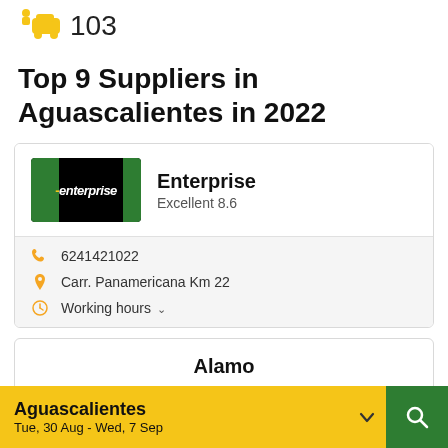103
Top 9 Suppliers in Aguascalientes in 2022
Enterprise
Excellent 8.6
6241421022
Carr. Panamericana Km 22
Working hours
Alamo
Aguascalientes
Tue, 30 Aug - Wed, 7 Sep